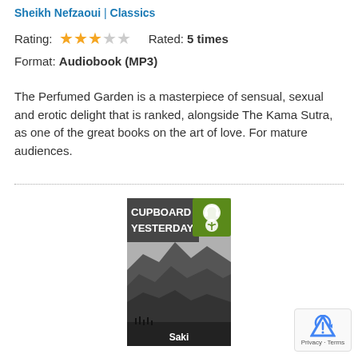Sheikh Nefzaoui | Classics
Rating: ★★★☆☆   Rated: 5 times
Format: Audiobook (MP3)
The Perfumed Garden is a masterpiece of sensual, sexual and erotic delight that is ranked, alongside The Kama Sutra, as one of the great books on the art of love. For mature audiences.
[Figure (photo): Book cover for 'Cupboard Yesterdays' by Saki, showing a black-and-white landscape with rocky terrain and text overlay with a green audiobook logo badge in the top right corner.]